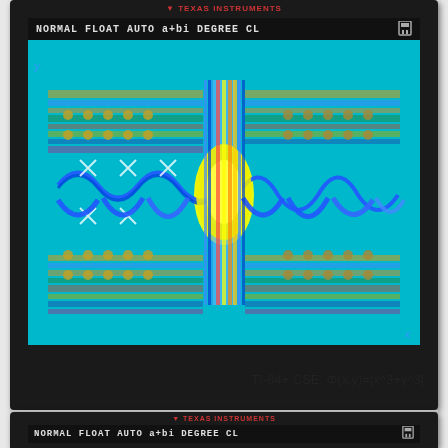[Figure (screenshot): TI-84+ CSE graphing calculator screen showing a colorful interference/fractal pattern plotted from the function Phi(x,y)=|x^3+y^3|. The screen displays 'NORMAL FLOAT AUTO a+bi DEGREE CL' in the status bar. The graph shows a complex multicolored pattern on a cyan background with concentric rings, dots, and wave interference patterns in yellow, blue, red, green, and orange colors.]
TI-84+ CSE: Φ(x,y)=|x^3+y^3|
[Figure (screenshot): Partial view of a second TI-84+ CSE calculator screen showing 'NORMAL FLOAT AUTO a+bi DEGREE CL' status bar and the beginning of another colorful graph on a cyan background with horizontal colored bands.]